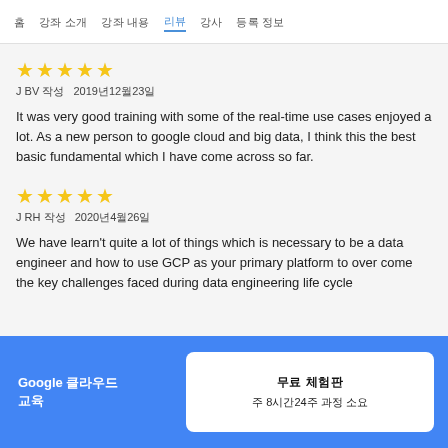홈   강좌 소개   강좌 내용   리뷰   강사   등록 정보
★★★★★
J BV 작성   2019년12월23일
It was very good training with some of the real-time use cases enjoyed a lot. As a new person to google cloud and big data, I think this the best basic fundamental which I have come across so far.
★★★★★
J RH 작성   2020년4월26일
We have learn't quite a lot of things which is necessary to be a data engineer and how to use GCP as your primary platform to over come the key challenges faced during data engineering life cycle
Google 클라우드 교육   무료 체험판   주 8시간24주 과정 소요